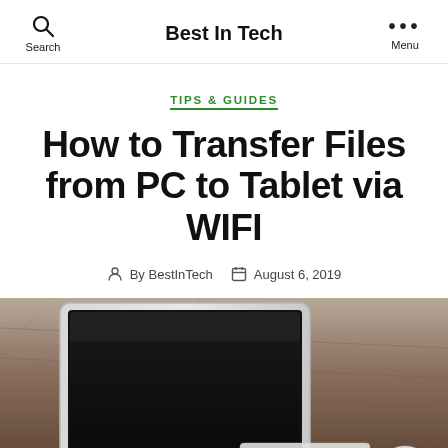Search | Best In Tech | Menu
TIPS & GUIDES
How to Transfer Files from PC to Tablet via WIFI
By BestInTech   August 6, 2019
[Figure (photo): iMac computer on a wooden desk with a keyboard and mouse, viewed from a low angle showing the screen and Apple logo]